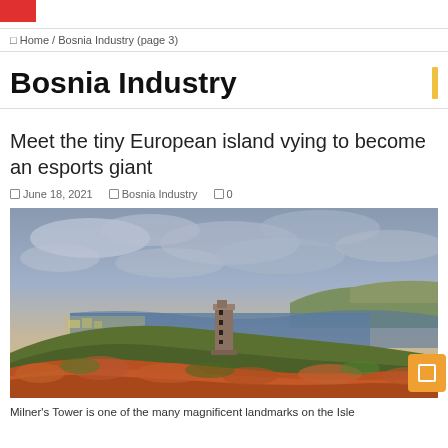Bosnia Industry (page 3)
Bosnia Industry
Meet the tiny European island vying to become an esports giant
June 18, 2021  Bosnia Industry  0
[Figure (photo): Landscape photograph showing a stone tower (Milner's Tower) on a hillside with orange/red vegetation in the foreground, a coastal bay and cliffs in the background under a cloudy sky.]
Milner's Tower is one of the many magnificent landmarks on the Isle